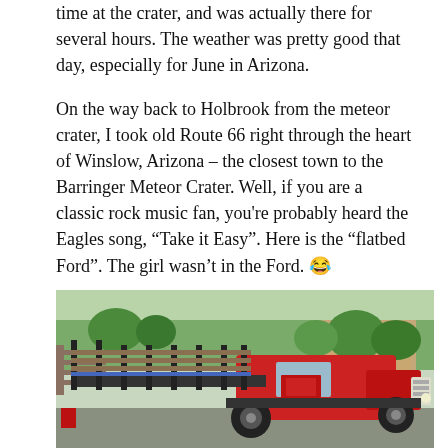time at the crater, and was actually there for several hours. The weather was pretty good that day, especially for June in Arizona.
On the way back to Holbrook from the meteor crater, I took old Route 66 right through the heart of Winslow, Arizona – the closest town to the Barringer Meteor Crater. Well, if you are a classic rock music fan, you're probably heard the Eagles song, “Take it Easy”. Here is the “flatbed Ford”. The girl wasn’t in the Ford. 😂
[Figure (photo): A vintage red flatbed Ford truck parked on a street in Winslow, Arizona, with trees and buildings visible in the background.]